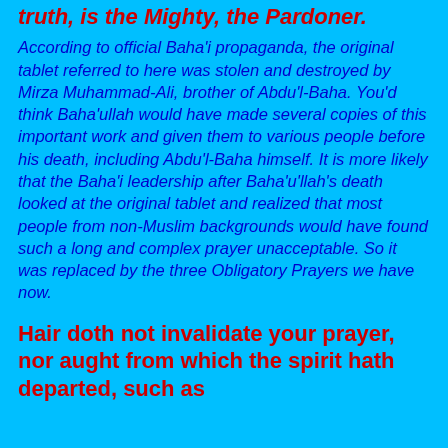truth, is the Mighty, the Pardoner.
According to official Baha'i propaganda, the original tablet referred to here was stolen and destroyed by Mirza Muhammad-Ali, brother of Abdu'l-Baha. You'd think Baha'ullah would have made several copies of this important work and given them to various people before his death, including Abdu'l-Baha himself. It is more likely that the Baha'i leadership after Baha'u'llah's death looked at the original tablet and realized that most people from non-Muslim backgrounds would have found such a long and complex prayer unacceptable. So it was replaced by the three Obligatory Prayers we have now.
Hair doth not invalidate your prayer, nor aught from which the spirit hath departed, such as